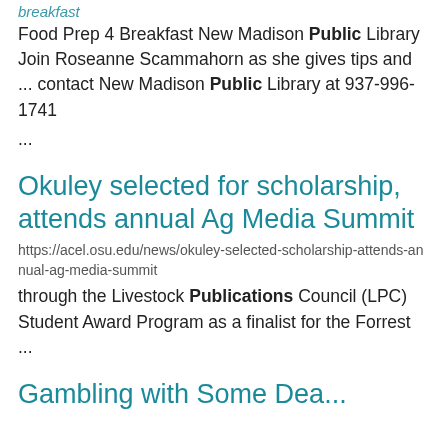breakfast
Food Prep 4 Breakfast New Madison Public Library Join Roseanne Scammahorn as she gives tips and ... contact New Madison Public Library at 937-996-1741 ...
Okuley selected for scholarship, attends annual Ag Media Summit
https://acel.osu.edu/news/okuley-selected-scholarship-attends-annual-ag-media-summit
through the Livestock Publications Council (LPC) Student Award Program as a finalist for the Forrest ...
Gambling with Some Dea...